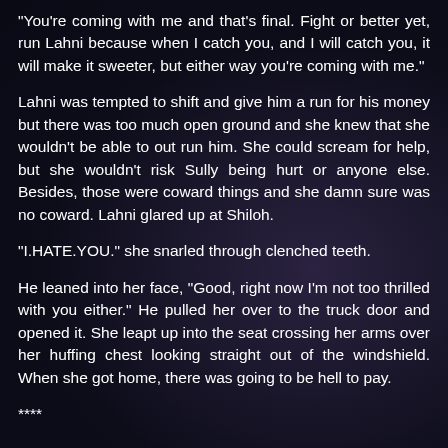“You’re coming with me and that’s final. Fight or better yet, run Lahni because when I catch you, and I will catch you, it will make it sweeter, but either way you’re coming with me.”
Lahni was tempted to shift and give him a run for his money but there was too much open ground and she knew that she wouldn’t be able to out run him. She could scream for help, but she wouldn’t risk Sully being hurt or anyone else. Besides, those were coward things and she damn sure was no coward. Lahni glared up at Shiloh.
“I.HATE.YOU.” she snarled through clenched teeth.
He leaned into her face, “Good, right now I’m not too thrilled with you either.” He pulled her over to the truck door and opened it. She leapt up into the seat crossing her arms over her huffing chest looking straight out of the windshield. When she got home, there was going to be hell to pay.
****